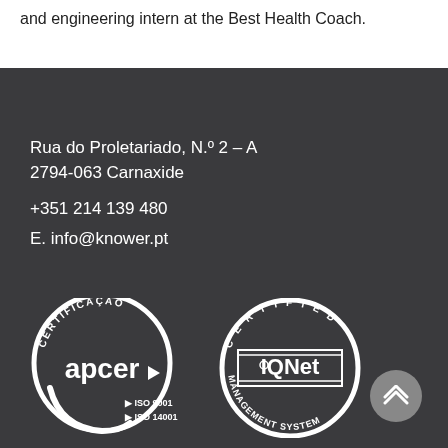and engineering intern at the Best Health Coach.
Rua do Proletariado, N.º 2 – A
2794-063 Carnaxide
+351 214 139 480
E. info@knower.pt
[Figure (logo): APCER certification logo with ISO 9001 and ISO 14001 labels, and IQNet Certified Management System logo]
Knower™ News Subscribe